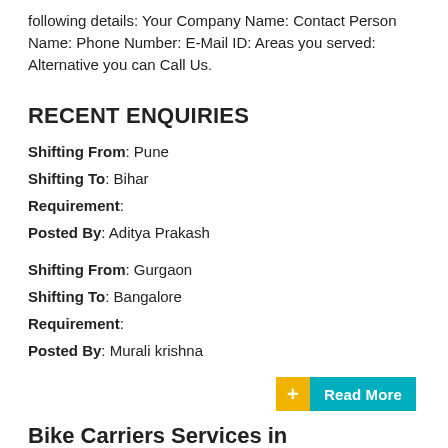following details: Your Company Name: Contact Person Name: Phone Number: E-Mail ID: Areas you served: Alternative you can Call Us.
RECENT ENQUIRIES
Shifting From: Pune
Shifting To: Bihar
Requirement:
Posted By: Aditya Prakash
Shifting From: Gurgaon
Shifting To: Bangalore
Requirement:
Posted By: Murali krishna
+ Read More
Bike Carriers Services in Kurukshetra